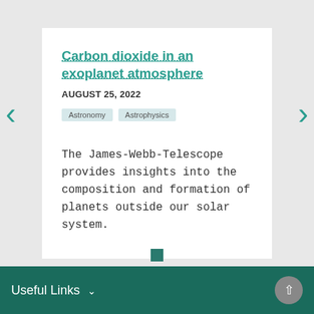Carbon dioxide in an exoplanet atmosphere
AUGUST 25, 2022
Astronomy
Astrophysics
The James-Webb-Telescope provides insights into the composition and formation of planets outside our solar system.
Useful Links